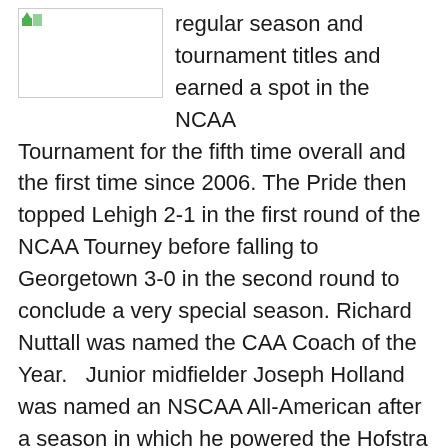[Figure (photo): Small image placeholder box with a green icon in the top-left corner, partially visible at top of page.]
regular season and tournament titles and earned a spot in the NCAA Tournament for the fifth time overall and the first time since 2006. The Pride then topped Lehigh 2-1 in the first round of the NCAA Tourney before falling to Georgetown 3-0 in the second round to conclude a very special season. Richard Nuttall was named the CAA Coach of the Year.  Junior midfielder Joseph Holland was named an NSCAA All-American after a season in which he powered the Hofstra attack with eight goals and nine assists. Holland was also named the CAA Player of the Year and a First Team All-CAA member along with junior defender Harri Hawkins. Senior goalkeeper Patrick Pray was named an All-CAA Second Team selection.  Hofstra concluded the season with a 14-8-0 overall record with a 6-2-0 mark in CAA play.  They were ranked as the number twenty-two team in